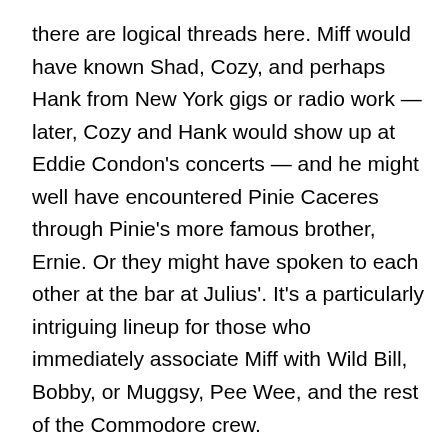there are logical threads here.  Miff would have known Shad, Cozy, and perhaps Hank from New York gigs or radio work — later, Cozy and Hank would show up at Eddie Condon's concerts — and he might well have encountered Pinie Caceres through Pinie's more famous brother, Ernie.  Or they might have spoken to each other at the bar at Julius'.  It's a particularly intriguing lineup for those who immediately associate Miff with Wild Bill, Bobby, or Muggsy, Pee Wee, and the rest of the Commodore crew.
What tunes did Miff call?  ROYAL GARDEN BLUES?  I don't dare assume, unless someone comes up with a review in a Toronto newspaper.  (Mark Miller wasn't born yet.)  Where are the heirs of a Canadian Jerry Newman or Dean Benedetti for some lovely acetate discs?  And did